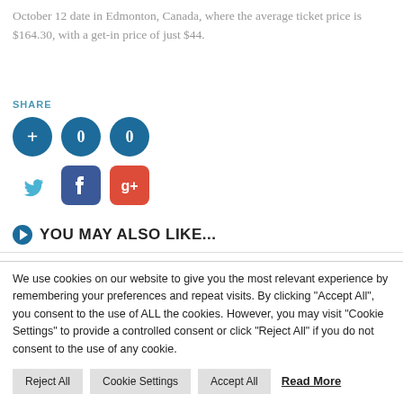October 12 date in Edmonton, Canada, where the average ticket price is $164.30, with a get-in price of just $44.
SHARE
[Figure (infographic): Social share buttons: plus button, two zero-count buttons in dark blue circles, and social media icons for Twitter (blue bird), Facebook (blue f), and Google+ (red g+)]
YOU MAY ALSO LIKE...
We use cookies on our website to give you the most relevant experience by remembering your preferences and repeat visits. By clicking "Accept All", you consent to the use of ALL the cookies. However, you may visit "Cookie Settings" to provide a controlled consent or click "Reject All" if you do not consent to the use of any cookie.
Reject All | Cookie Settings | Accept All | Read More